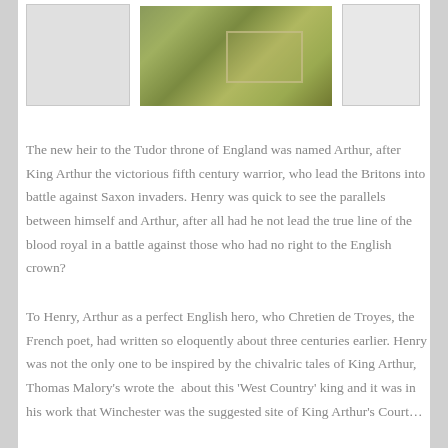[Figure (photo): Aerial photograph of a site with green/golden fields and a rectangular outlined area, flanked by two white/grey boxes on left and right]
The new heir to the Tudor throne of England was named Arthur, after King Arthur the victorious fifth century warrior, who lead the Britons into battle against Saxon invaders. Henry was quick to see the parallels between himself and Arthur, after all had he not lead the true line of the blood royal in a battle against those who had no right to the English crown?
To Henry, Arthur as a perfect English hero, who Chretien de Troyes, the French poet, had written so eloquently about three centuries earlier. Henry was not the only one to be inspired by the chivalric tales of King Arthur, Thomas Malory's wrote the  about this 'West Country' king and it was in his work that Winchester was the suggested site of King Arthur's Court...